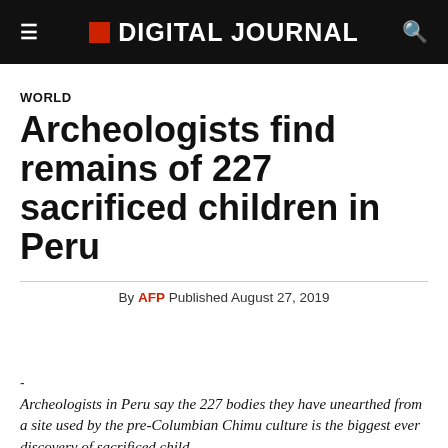DIGITAL JOURNAL
WORLD
Archeologists find remains of 227 sacrificed children in Peru
By AFP Published August 27, 2019
-
Archeologists in Peru say the 227 bodies they have unearthed from a site used by the pre-Columbian Chimu culture is the biggest ever discovery of sacrificed child...